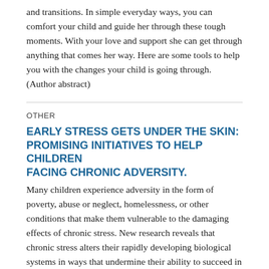and transitions. In simple everyday ways, you can comfort your child and guide her through these tough moments. With your love and support she can get through anything that comes her way. Here are some tools to help you with the changes your child is going through. (Author abstract)
OTHER
EARLY STRESS GETS UNDER THE SKIN: PROMISING INITIATIVES TO HELP CHILDREN FACING CHRONIC ADVERSITY.
Many children experience adversity in the form of poverty, abuse or neglect, homelessness, or other conditions that make them vulnerable to the damaging effects of chronic stress. New research reveals that chronic stress alters their rapidly developing biological systems in ways that undermine their ability to succeed in school and in life. The good news is that we have strong evidence for programs and approaches that policy makers could use to help these children overcome